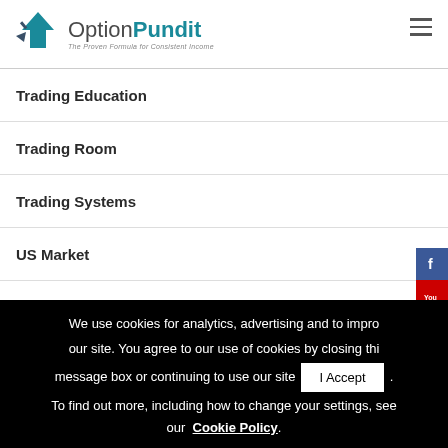[Figure (logo): OptionPundit logo with teal arrow icon and tagline 'The Proven Formula for Consistent Income']
Trading Education
Trading Room
Trading Systems
US Market
Value Investing
We use cookies for analytics, advertising and to improve our site. You agree to our use of cookies by closing this message box or continuing to use our site. To find out more, including how to change your settings, see our Cookie Policy.